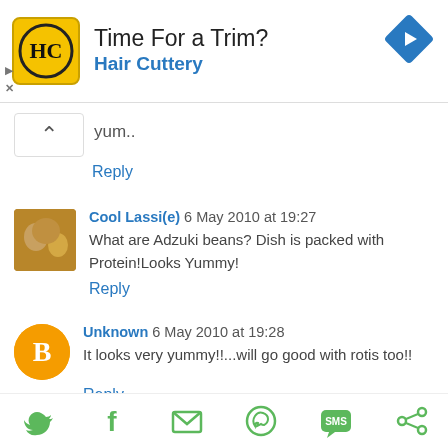[Figure (infographic): Advertisement banner for Hair Cuttery with HC logo, text 'Time For a Trim?' and 'Hair Cuttery', and a blue navigation diamond icon on the right.]
yum..
Reply
Cool Lassi(e) 6 May 2010 at 19:27
What are Adzuki beans? Dish is packed with Protein!Looks Yummy!
Reply
Unknown 6 May 2010 at 19:28
It looks very yummy!!...will go good with rotis too!!
Reply
[Figure (infographic): Social sharing bar with icons for Twitter, Facebook, Email, WhatsApp, SMS, and another sharing service, all in green.]